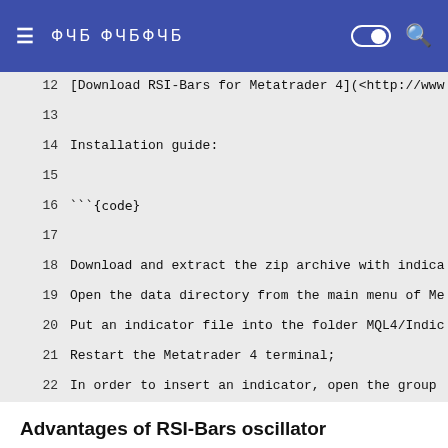≡  ΩΩΩ ΩΩΩΩΩΩ
12   [Download RSI-Bars for Metatrader 4](<http://www
13
14   Installation guide:
15
16   ```{code}
17
18   Download and extract the zip archive with indica
19   Open the data directory from the main menu of Me
20   Put an indicator file into the folder MQL4/Indic
21   Restart the Metatrader 4 terminal;
22   In order to insert an indicator, open the group
Advantages of RSI-Bars oscillator
In contrast to the classical Relative Strength Index, developed by J.Wilder, RSI-Bars evaluates an internal volatility. Minimal and maximum limits of bars are constructed on the basis of 4 prices (OHLC). A calculated set is used for the selection of a minimum and maximum